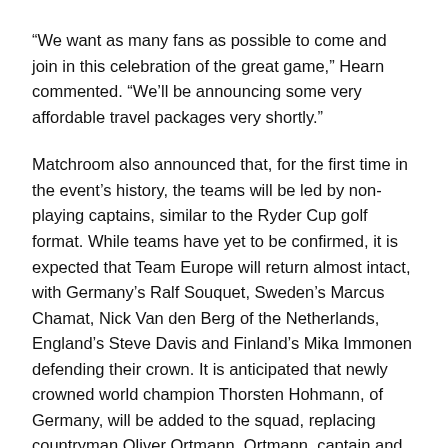“We want as many fans as possible to come and join in this celebration of the great game,” Hearn commented. “We’ll be announcing some very affordable travel packages very shortly.”
Matchroom also announced that, for the first time in the event’s history, the teams will be led by non-playing captains, similar to the Ryder Cup golf format. While teams have yet to be confirmed, it is expected that Team Europe will return almost intact, with Germany’s Ralf Souquet, Sweden’s Marcus Chamat, Nick Van den Berg of the Netherlands, England’s Steve Davis and Finland’s Mika Immonen defending their crown. It is anticipated that newly crowned world champion Thorsten Hohmann, of Germany, will be added to the squad, replacing countryman Oliver Ortmann. Ortmann, captain and emotional leader of the 2002 champions, may be tabbed as the team’s non-playing captain in 2003.